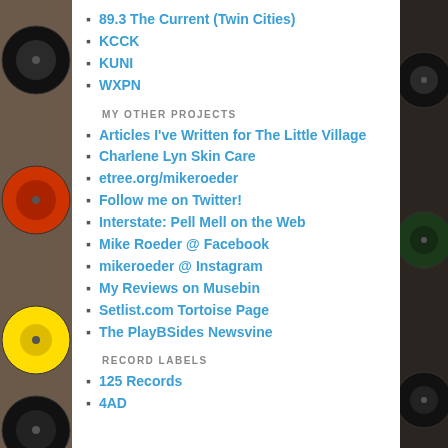89.3 The Current (Twin Cities)
KCCK
KUNI
WXPN
MY OTHER PROJECTS
Articles I've Written for The Little Village
Charlene Lyn Skin Care
etree.org/mikeroeder
Follow me on Twitter!
Interstate: Pell Mell on the Web
Mike Roeder @ Facebook
mikeroeder @ Instagram
My Reviews on Musebin
Setlist.com Tortoise Page
The PlayBSides Newsvine
RECORD LABELS
125 Records
4AD